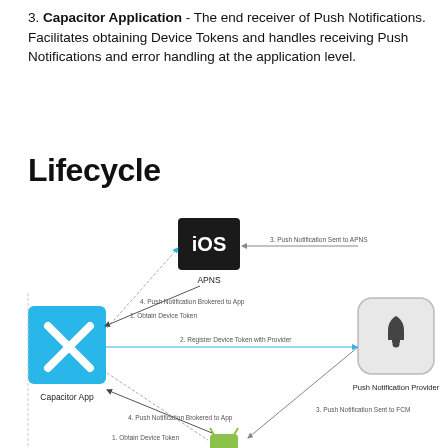3. Capacitor Application - The end receiver of Push Notifications. Facilitates obtaining Device Tokens and handles receiving Push Notifications and error handling at the application level.
Lifecycle
[Figure (flowchart): Lifecycle diagram showing push notification flow between Capacitor App, APNS (iOS), Push Notification Provider, and FCM (Android). Steps: 1. Obtain Device Token, 2. Register Device Token with Provider, 3. Push Notification Sent to APNS/FCM, 4. Push Notification Brokered to App.]